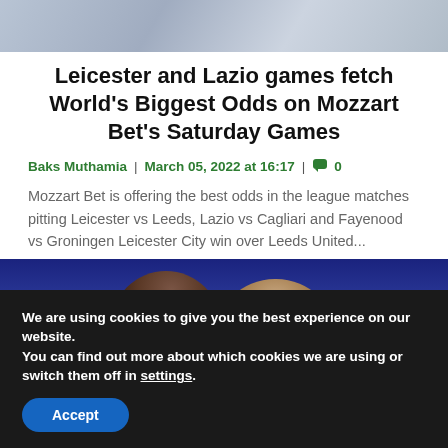[Figure (photo): Top portion of a sports/soccer photo showing players in white kits against a blurred background]
Leicester and Lazio games fetch World's Biggest Odds on Mozzart Bet's Saturday Games
Baks Muthamia | March 05, 2022 at 16:17 | 💬 0
Mozzart Bet is offering the best odds in the league matches pitting Leicester vs Leeds, Lazio vs Cagliari and Fayenood vs Groningen Leicester City win over Leeds United...
[Figure (photo): Partial photo of two soccer players' heads against a dark blue background, cropped at bottom]
We are using cookies to give you the best experience on our website.
You can find out more about which cookies we are using or switch them off in settings.
Accept